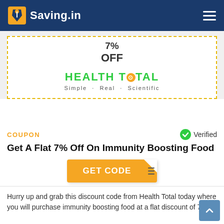Saving.in
[Figure (screenshot): Coupon card with dashed border showing 7% OFF and Health Total logo (Simple · Real · Scientific)]
COUPON
Verified
Get A Flat 7% Off On Immunity Boosting Food
GET CODE
Hurry up and grab this discount code from Health Total today where you will purchase immunity boosting food at a flat discount of 7% off